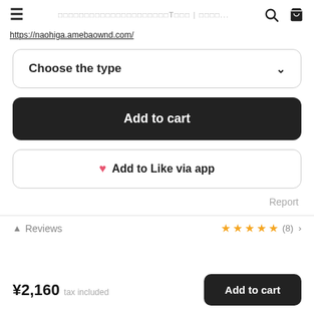≡  □□□□□□□□□□□□□□□□□□□□□T□□□ | □□□□...  🔍  🛒
https://naohiga.amebaownd.com/
Choose the type
Add to cart
♥ Add to Like via app
Report
Reviews  ★★★★★  (8)
¥2,160  tax included
Add to cart